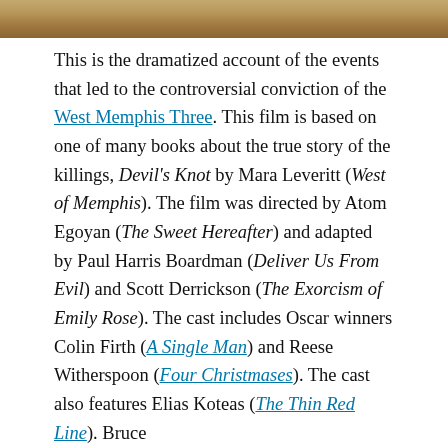[Figure (photo): Partial bottom edge of a photograph, showing a sandy/earthy scene]
This is the dramatized account of the events that led to the controversial conviction of the West Memphis Three. This film is based on one of many books about the true story of the killings, Devil's Knot by Mara Leveritt (West of Memphis). The film was directed by Atom Egoyan (The Sweet Hereafter) and adapted by Paul Harris Boardman (Deliver Us From Evil) and Scott Derrickson (The Exorcism of Emily Rose). The cast includes Oscar winners Colin Firth (A Single Man) and Reese Witherspoon (Four Christmases). The cast also features Elias Koteas (The Thin Red Line). Bruce
Advertisements
[Figure (screenshot): WordPress.com advertisement banner: Simplified pricing for everything you need.]